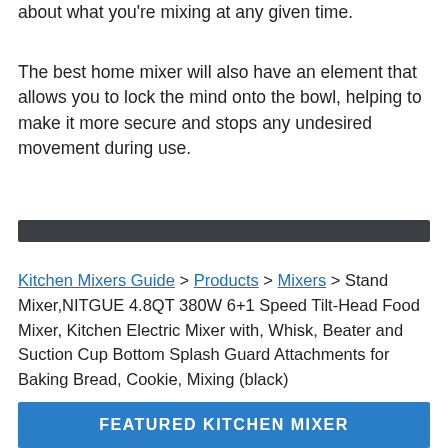about what you're mixing at any given time.
The best home mixer will also have an element that allows you to lock the mind onto the bowl, helping to make it more secure and stops any undesired movement during use.
Kitchen Mixers Guide > Products > Mixers > Stand Mixer,NITGUE 4.8QT 380W 6+1 Speed Tilt-Head Food Mixer, Kitchen Electric Mixer with, Whisk, Beater and Suction Cup Bottom Splash Guard Attachments for Baking Bread, Cookie, Mixing (black)
FEATURED KITCHEN MIXER